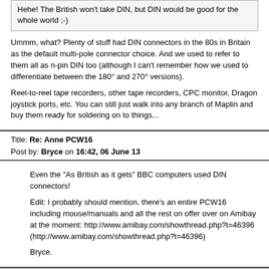Hehe! The British won't take DIN, but DIN would be good for the whole world ;-)
Ummm, what? Plenty of stuff had DIN connectors in the 80s in Britain as the default multi-pole connector choice. And we used to refer to them all as n-pin DIN too (although I can't remember how we used to differentiate between the 180° and 270° versions).
Reel-to-reel tape recorders, other tape recorders, CPC monitor, Dragon joystick ports, etc. You can still just walk into any branch of Maplin and buy them ready for soldering on to things...
Title: Re: Anne PCW16
Post by: Bryce on 16:42, 06 June 13
Even the "As British as it gets" BBC computers used DIN connectors!
Edit: I probably should mention, there's an entire PCW16 including mouse/manuals and all the rest on offer over on Amibay at the moment: http://www.amibay.com/showthread.php?t=46396 (http://www.amibay.com/showthread.php?t=46396)
Bryce.
Title: Re: Anne PCW16
Post by: robcfg on 18:31, 06 June 13
Are the protocols that different so that one has tried to build a RS/2 or